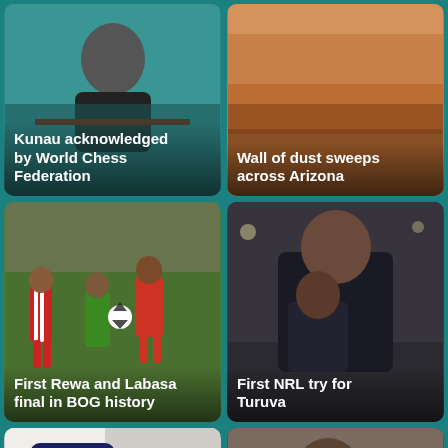[Figure (photo): Woman acknowledged by World Chess Federation, sitting at a table]
Kunau acknowledged by World Chess Federation
[Figure (photo): Wall of dust sweeping across Arizona, orange dust cloud over landscape]
Wall of dust sweeps across Arizona
[Figure (photo): Football match between Rewa and Labasa teams, players in red/white and green/yellow kits competing for the ball]
First Rewa and Labasa final in BOG history
[Figure (photo): NRL player Turuva scoring first try, indoor arena setting]
First NRL try for Turuva
[Figure (photo): Fiji Police badge/patch on uniform]
[Figure (photo): Man in grey suit being interviewed, middle-aged, grey beard]